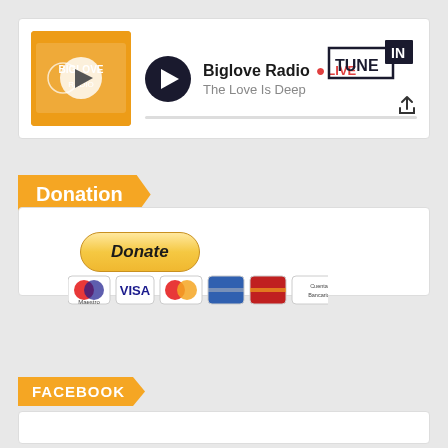[Figure (screenshot): TuneIn radio player card showing Biglove Radio with LIVE status and song 'The Love Is Deep']
Donation
[Figure (screenshot): PayPal Donate button with payment method logos: Maestro, VISA, Mastercard, and Cuenta Bancaria]
FACEBOOK